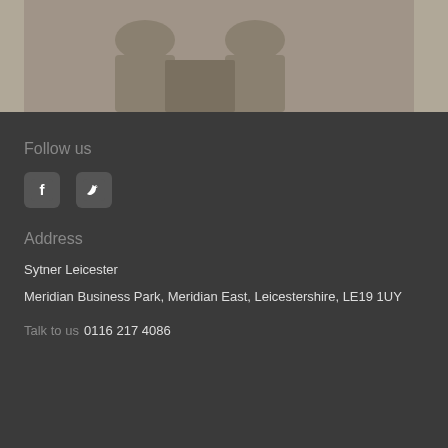[Figure (photo): Partial photo of people in grey/light clothing, cropped at top of page]
Follow us
[Figure (other): Facebook and Twitter social media icons]
Address
Sytner Leicester
Meridian Business Park, Meridian East, Leicestershire, LE19 1UY
Talk to us  0116 217 4086